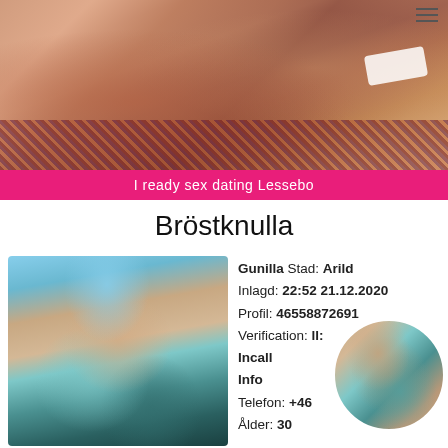[Figure (photo): Photo of a person on a carpet background with pink banner]
I ready sex dating Lessebo
Bröstknulla
[Figure (photo): Profile photo of woman in teal bikini with sunglasses outdoors]
Gunilla Stad: Arild
Inlagd: 22:52 21.12.2020
Profil: 46558872691
Verification: [obscured]
Incall
Info
Telefon: +46[obscured]
Ålder: 30
[Figure (photo): Circular thumbnail photo of person in teal shorts]